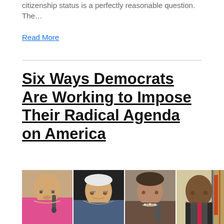citizenship status is a perfectly reasonable question. The…
Read More
Six Ways Democrats Are Working to Impose Their Radical Agenda on America
[Figure (photo): Four photos of Democratic politicians side by side: Elizabeth Warren, Bernie Sanders, Kamala Harris, and Cory Booker]